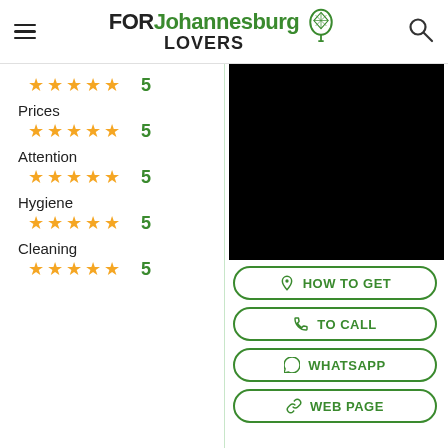FOR Johannesburg LOVERS
★★★★★ 5
Prices ★★★★★ 5
Attention ★★★★★ 5
Hygiene ★★★★★ 5
Cleaning ★★★★★ 5
[Figure (photo): Black image placeholder]
HOW TO GET
TO CALL
WHATSAPP
WEB PAGE